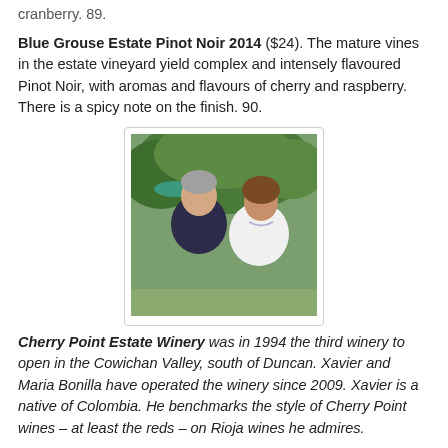cranberry. 89.
Blue Grouse Estate Pinot Noir 2014 ($24). The mature vines in the estate vineyard yield complex and intensely flavoured Pinot Noir, with aromas and flavours of cherry and raspberry. There is a spicy note on the finish. 90.
[Figure (photo): Photo of two people, a man with grey hair in a dark jacket and a woman with brown hair in a white top, standing outdoors in front of green trees.]
Cherry Point Estate Winery was in 1994 the third winery to open in the Cowichan Valley, south of Duncan. Xavier and Maria Bonilla have operated the winery since 2009. Xavier is a native of Colombia. He benchmarks the style of Cherry Point wines – at least the reds – on Rioja wines he admires.
Cherry Point Pinot Gris 2014 ($24). There is 10% Pinot Blanc in this blend, adding structure and weight. Cri...